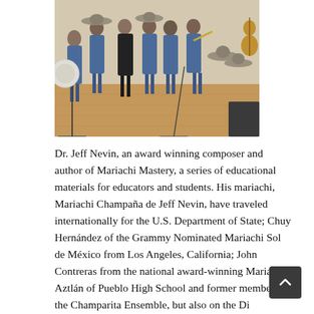[Figure (photo): A mariachi band group photo on a wooden stage. Musicians in blue mariachi outfits with sombreros, holding instruments including violins, guitars, trumpets, and a guitarrón (bass guitar). Some hats are placed on microphone stands.]
Dr. Jeff Nevin, an award winning composer and author of Mariachi Mastery, a series of educational materials for educators and students. His mariachi, Mariachi Champaña de Jeff Nevin, have traveled internationally for the U.S. Department of State; Chuy Hernández of the Grammy Nominated Mariachi Sol de México from Los Angeles, California; John Contreras from the national award-winning Mariachi Aztlán of Pueblo High School and former member of the Champarita Ensemble, but also on the Dia...